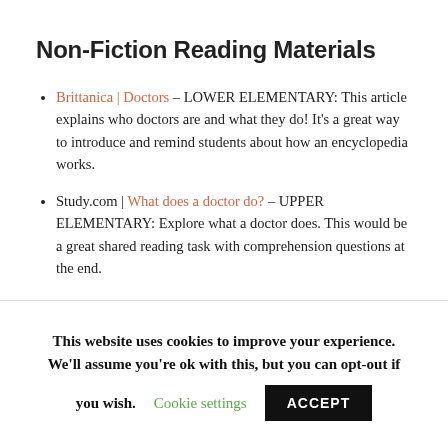Non-Fiction Reading Materials
Brittanica | Doctors – LOWER ELEMENTARY: This article explains who doctors are and what they do! It's a great way to introduce and remind students about how an encyclopedia works.
Study.com | What does a doctor do? – UPPER ELEMENTARY: Explore what a doctor does. This would be a great shared reading task with comprehension questions at the end.
Vocabulary: Who's Who in the Hospital?
This website uses cookies to improve your experience. We'll assume you're ok with this, but you can opt-out if you wish. Cookie settings ACCEPT